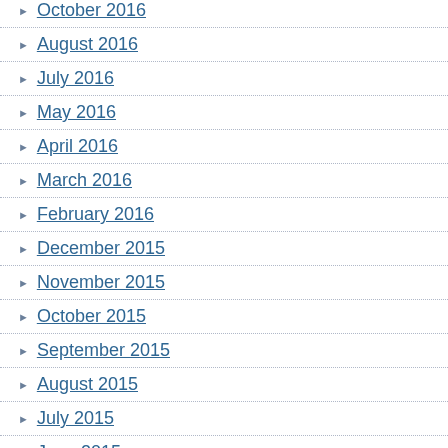October 2016
August 2016
July 2016
May 2016
April 2016
March 2016
February 2016
December 2015
November 2015
October 2015
September 2015
August 2015
July 2015
June 2015